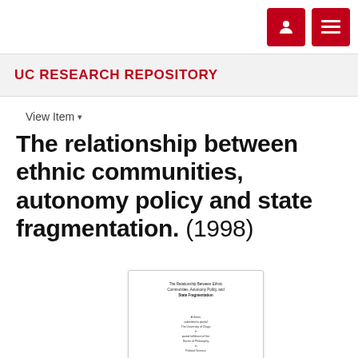UC RESEARCH REPOSITORY
View Item ▾
The relationship between ethnic communities, autonomy policy and state fragmentation. (1998)
[Figure (other): Thumbnail of the document title page showing 'The Relationship Between Ethnic Communities, Autonomy Policy, and State Fragmentation' with submission details.]